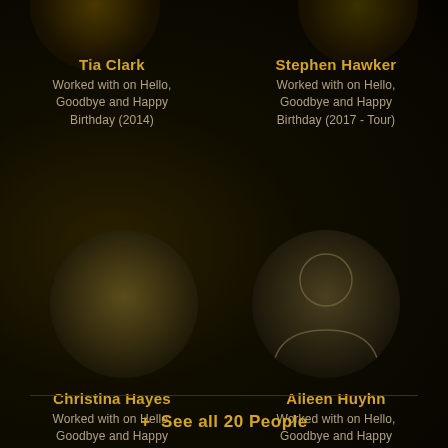[Figure (illustration): Circular avatar placeholder for Tia Clark - dark brownish circle, partially visible at top left]
Tia Clark
Worked with on Hello, Goodbye and Happy Birthday (2014)
[Figure (illustration): Circular avatar placeholder for Stephen Hawker - dark brownish circle, partially visible at top right]
Stephen Hawker
Worked with on Hello, Goodbye and Happy Birthday (2017 - Tour)
[Figure (illustration): Circular avatar for Christina Hayes - large dark olive/brown circle with no visible silhouette]
Christina Hayes
Worked with on Hello, Goodbye and Happy Birthday (2014)
[Figure (illustration): Circular avatar for Aileen Huyhn - dark circle with faint person silhouette outline]
Aileen Huyhn
Worked with on Hello, Goodbye and Happy Birthday (2017 - Tour)
+ See all 20 People